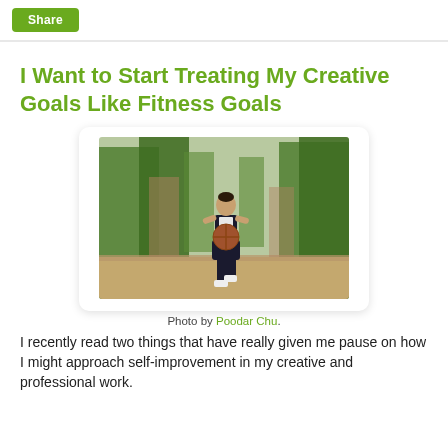Share
I Want to Start Treating My Creative Goals Like Fitness Goals
[Figure (photo): A young man in a black basketball jersey playing basketball outdoors, holding a ball, looking upward, with trees and a court in the background.]
Photo by Poodar Chu.
I recently read two things that have really given me pause on how I might approach self-improvement in my creative and professional work.